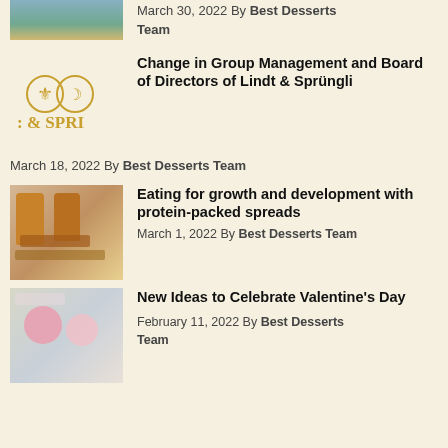[Figure (photo): Partial top image of a food/dessert scene cropped at top]
March 30, 2022 By Best Desserts Team
[Figure (logo): Lindt & Sprungli gold logo with emblems and '& SPRI' text]
Change in Group Management and Board of Directors of Lindt & Sprüngli
March 18, 2022 By Best Desserts Team
[Figure (photo): Food photo showing peanut butter jars and chocolate pieces]
Eating for growth and development with protein-packed spreads
March 1, 2022 By Best Desserts Team
[Figure (photo): Valentine's Day themed food photo with pink desserts and sprinkles]
New Ideas to Celebrate Valentine's Day
February 11, 2022 By Best Desserts Team